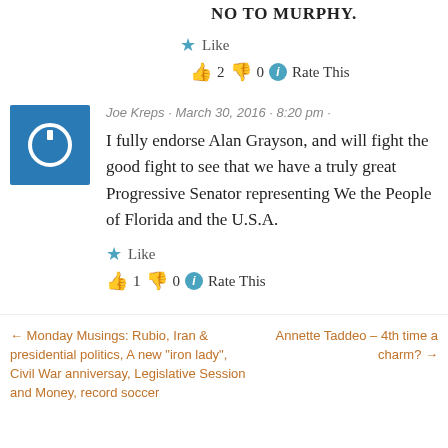NO TO MURPHY.
★ Like
👍 2 👎 0 ℹ Rate This
Joe Kreps · March 30, 2016 · 8:20 pm ·
I fully endorse Alan Grayson, and will fight the good fight to see that we have a truly great Progressive Senator representing We the People of Florida and the U.S.A.
★ Like
👍 1 👎 0 ℹ Rate This
← Monday Musings: Rubio, Iran & presidential politics, A new "iron lady", Civil War anniversay, Legislative Session and Money, record soccer
Annette Taddeo – 4th time a charm? →